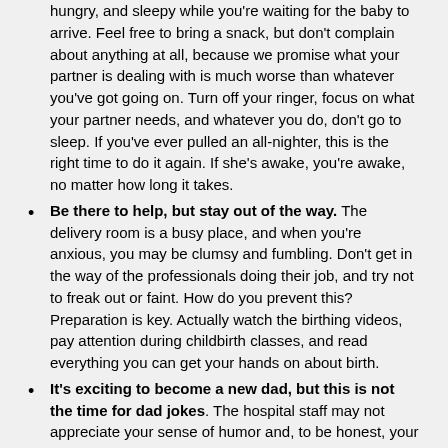hungry, and sleepy while you're waiting for the baby to arrive. Feel free to bring a snack, but don't complain about anything at all, because we promise what your partner is dealing with is much worse than whatever you've got going on. Turn off your ringer, focus on what your partner needs, and whatever you do, don't go to sleep. If you've ever pulled an all-nighter, this is the right time to do it again. If she's awake, you're awake, no matter how long it takes.
Be there to help, but stay out of the way. The delivery room is a busy place, and when you're anxious, you may be clumsy and fumbling. Don't get in the way of the professionals doing their job, and try not to freak out or faint. How do you prevent this? Preparation is key. Actually watch the birthing videos, pay attention during childbirth classes, and read everything you can get your hands on about birth.
It's exciting to become a new dad, but this is not the time for dad jokes. The hospital staff may not appreciate your sense of humor and, to be honest, your partner may not at that moment, either. Try not to say anything at all that isn't helpful.
Expect the process to be unpredictable and,